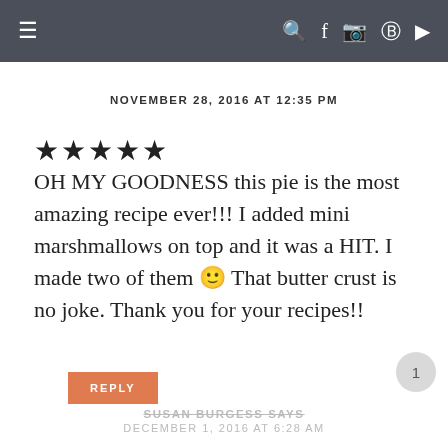Navigation bar with hamburger menu and social icons
NOVEMBER 28, 2016 AT 12:35 PM
★★★★★
OH MY GOODNESS this pie is the most amazing recipe ever!!! I added mini marshmallows on top and it was a HIT. I made two of them 🙂 That butter crust is no joke. Thank you for your recipes!!
REPLY
SUSAN BURGESS SAYS
DECEMBER 1, 2016 AT 6:28 AM